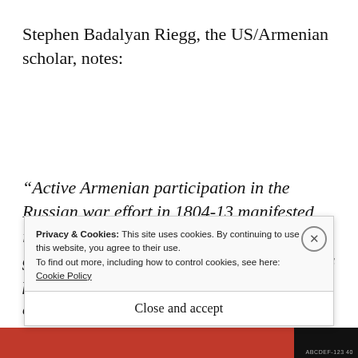Stephen Badalyan Riegg, the US/Armenian scholar, notes:
“Active Armenian participation in the Russian war effort in 1804-13 manifested itself primarily in the form of intelligence gathering. Broadly speaking, these activities f... c...
Privacy & Cookies: This site uses cookies. By continuing to use this website, you agree to their use.
To find out more, including how to control cookies, see here: Cookie Policy
Close and accept